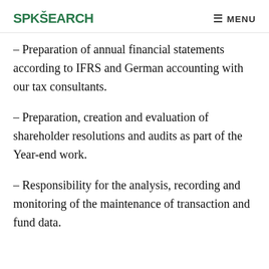SPKSEARCH  MENU
– Preparation of annual financial statements according to IFRS and German accounting with our tax consultants.
– Preparation, creation and evaluation of shareholder resolutions and audits as part of the Year-end work.
– Responsibility for the analysis, recording and monitoring of the maintenance of transaction and fund data.